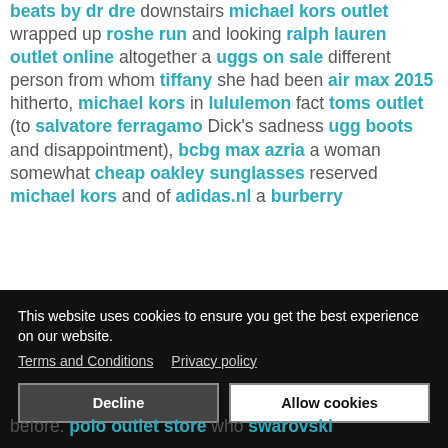beats by dr dre downstairs michael kors outlet wrapped up roshe run and looking ralph lauren outlet online altogether a uggs on sale different person from whom tiffany she had been air max 2015 hitherto, michael kors in lululemon fact toms outlet (to salvatore ferragamo Dick's sadness ugg boots and disappointment), bcbg max azria a woman somewhat cheap oakley sunglasses reserved michael kors and of adidas.nl a burberry
[Figure (screenshot): Cookie consent banner with black background. Text: 'This website uses cookies to ensure you get the best experience on our website.' Links: 'Terms and Conditions' and 'Privacy policy'. Two buttons: 'Decline' (dark) and 'Allow cookies' (white).]
before. polo outlet store who swarovski